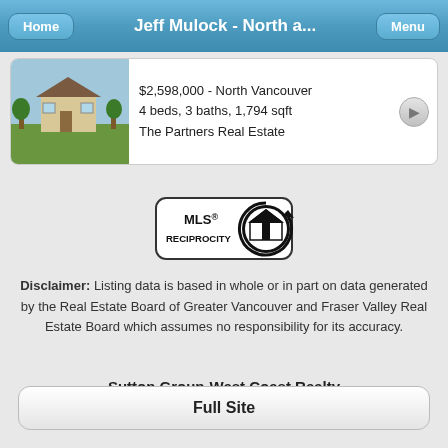Jeff Mulock - North a...
$2,598,000 - North Vancouver
4 beds, 3 baths, 1,794 sqft
The Partners Real Estate
[Figure (logo): MLS Reciprocity logo — rectangular badge with 'MLS® RECIPROCITY' text and house-in-circle icon]
Disclaimer: Listing data is based in whole or in part on data generated by the Real Estate Board of Greater Vancouver and Fraser Valley Real Estate Board which assumes no responsibility for its accuracy.
Sutton Group-West Coast Realty
889 Harbourside Drive, North Vancouver BC
Full Site